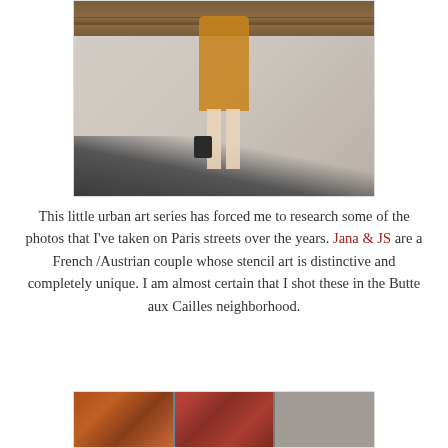[Figure (photo): Street art photo showing a painted stencil of a woman in an orange/yellow patterned dress holding a bag, standing against a white wall with wooden shutters above, with dark pavement at the bottom.]
This little urban art series has forced me to research some of the photos that I've taken on Paris streets over the years. Jana & JS are a French /Austrian couple whose stencil art is distinctive and completely unique. I am almost certain that I shot these in the Butte aux Cailles neighborhood.
[Figure (photo): Partial photo showing weathered poster/street art on a wall, with multiple overlapping posters or prints featuring portraits, in muted red, orange, and grey tones.]